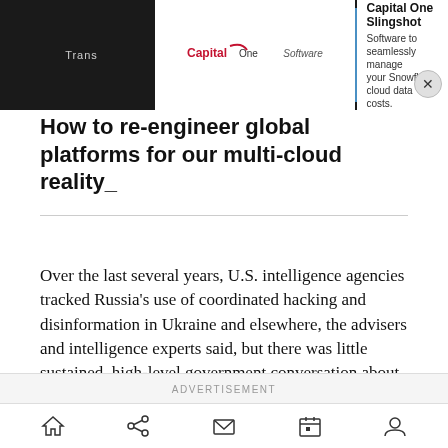[Figure (screenshot): Capital One Software advertisement banner with logo and 'Capital One Slingshot - Software to seamlessly manage your Snowflake cloud data costs.' text, with close button]
How to re-engineer global platforms for our multi-cloud reality_
Over the last several years, U.S. intelligence agencies tracked Russia's use of coordinated hacking and disinformation in Ukraine and elsewhere, the advisers and intelligence experts said, but there was little sustained, high-level government conversation about the risk of the propaganda coming to the United States.
ADVERTISEMENT
[Figure (screenshot): Mobile bottom navigation bar with home, share, mail, calendar, and person icons]